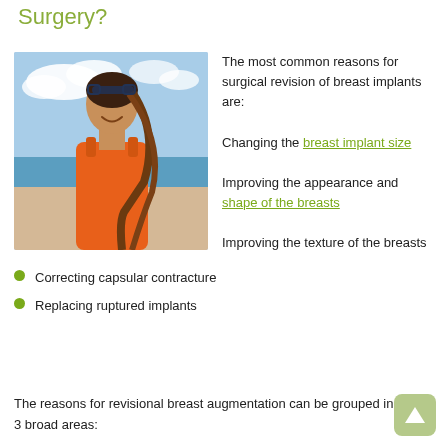Surgery?
[Figure (photo): Young woman smiling on a beach wearing an orange top, with sunglasses on her head]
The most common reasons for surgical revision of breast implants are:
Changing the breast implant size
Improving the appearance and shape of the breasts
Improving the texture of the breasts
Correcting capsular contracture
Replacing ruptured implants
The reasons for revisional breast augmentation can be grouped in 3 broad areas: